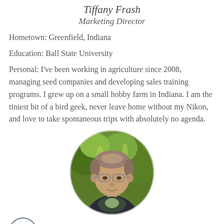Tiffany Frash
Marketing Director
Hometown: Greenfield, Indiana
Education: Ball State University
Personal: I've been working in agriculture since 2008, managing seed companies and developing sales training programs. I grew up on a small hobby farm in Indiana. I am the tiniest bit of a bird geek, never leave home without my Nikon, and love to take spontaneous trips with absolutely no agenda.
[Figure (photo): Circular portrait photo of Keith Kohlmann, a middle-aged man with glasses, wearing a dark vest, standing in front of green foliage.]
Keith Kohlmann
Senior Advisor
Hometown: McLean county, Illinois